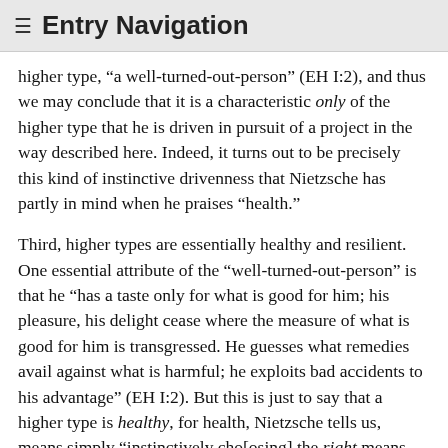≡ Entry Navigation
higher type, “a well-turned-out-person” (EH I:2), and thus we may conclude that it is a characteristic only of the higher type that he is driven in pursuit of a project in the way described here. Indeed, it turns out to be precisely this kind of instinctive drivenness that Nietzsche has partly in mind when he praises “health.”
Third, higher types are essentially healthy and resilient. One essential attribute of the “well-turned-out-person” is that he “has a taste only for what is good for him; his pleasure, his delight cease where the measure of what is good for him is transgressed. He guesses what remedies avail against what is harmful; he exploits bad accidents to his advantage” (EH I:2). But this is just to say that a higher type is healthy, for health, Nietzsche tells us, means simply “instinctively cho[osing] the right means against wretched states” (EH I:2). This permits us to understand Nietzsche’s own declaration in Ecce Homo that he was “healthy at bottom” (EH I:2), a seemingly paradoxical claim for a philosopher whose physical